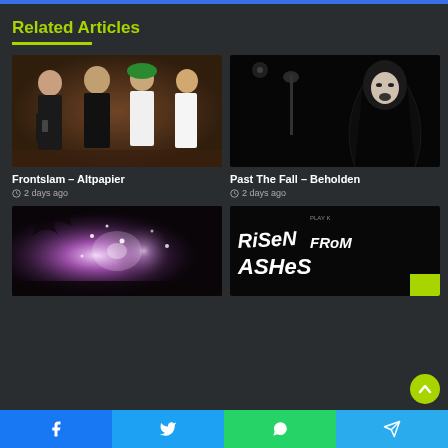Related Articles
[Figure (photo): Group photo of Frontslam band members posing together]
Frontslam – Altpapier
2 days ago
[Figure (photo): Dark moody photo for Past The Fall – Beholden music video]
Past The Fall – Beholden
2 days ago
[Figure (photo): Concert photo with bright lights and sparks]
[Figure (photo): Risen From Ashes title card with graffiti style text on black background]
Facebook | Twitter | WhatsApp | Telegram share buttons